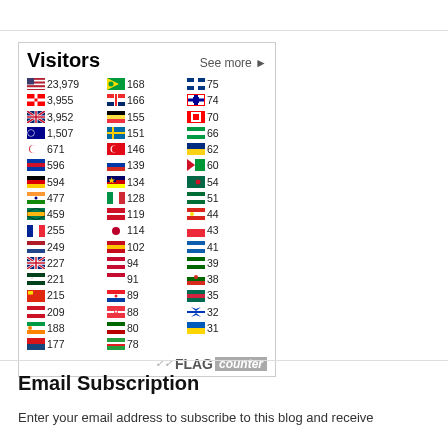[Figure (infographic): Flag counter widget showing visitor counts by country. Title: 'Visitors', with a 'See more' link. Three columns of country flags with visit counts. Countries include USA (23,979), Canada (3,955), UK (3,952), Australia (1,507), Korea (671), Philippines (596), Germany (594), India (477), South Africa (459), France (255), Netherlands (249), New Zealand (227), Pakistan (221), China (215), Indonesia (209), Ireland (188), Czech Republic (177), Brazil (168), Norway (166), Belgium (155), Sweden (151), Turkey (146), Russia (139), Malaysia (134), Italy (128), Indonesia (119), Japan (114), Spain (102), Denmark (94), Denmark (91), Netherlands (89), Singapore (88), Kenya (80), Iran (78), Finland (75), Taiwan (74), Switzerland (70), Nigeria (66), Romania (62), UAE (60), Mexico (54), Saudi Arabia (51), Vietnam (44), Austria (43), Greece (41), Portugal (39), Portugal (38), Bangladesh (35), Israel (32), Ukraine (31). Footer: FLAG counter logo.]
Email Subscription
Enter your email address to subscribe to this blog and receive